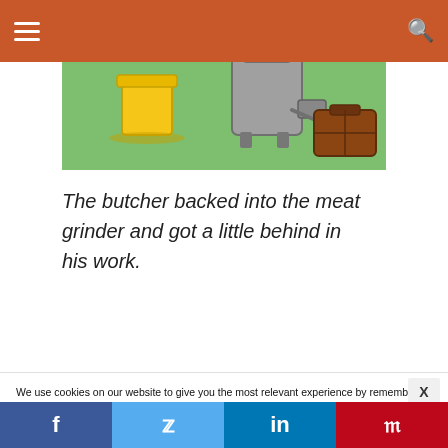Navigation header with hamburger menu and search icon
[Figure (illustration): Cartoon illustration on green background showing a meat grinder carrying a briefcase and a yellow jar/container]
The butcher backed into the meat grinder and got a little behind in his work.
We use cookies on our website to give you the most relevant experience by remembering your preferences and repeat visits. By clicking “Accept”, you consent to the use of ALL the cookies.
Do not sell my personal information.
Social sharing bar: Facebook, Twitter, LinkedIn, Pinterest